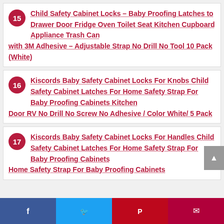15 Child Safety Cabinet Locks – Baby Proofing Latches to Drawer Door Fridge Oven Toilet Seat Kitchen Cupboard Appliance Trash Can with 3M Adhesive – Adjustable Strap No Drill No Tool 10 Pack (White)
16 Kiscords Baby Safety Cabinet Locks For Knobs Child Safety Cabinet Latches For Home Safety Strap For Baby Proofing Cabinets Kitchen Door RV No Drill No Screw No Adhesive / Color White/ 5 Pack
17 Kiscords Baby Safety Cabinet Locks For Handles Child Safety Cabinet Latches For Home Safety Strap For Baby Proofing Cabinets
Facebook Twitter Pinterest Email